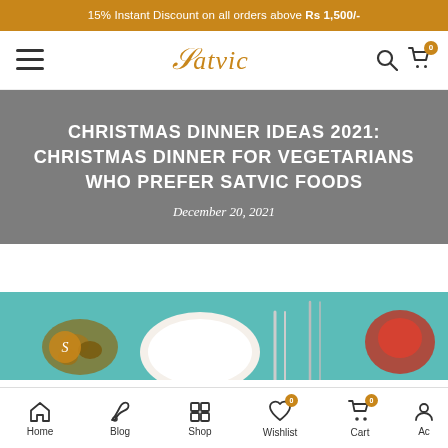15% Instant Discount on all orders above Rs 1,500/-
[Figure (logo): Satvic brand logo with stylized S, hamburger menu icon, search icon, and cart icon with badge 0]
CHRISTMAS DINNER IDEAS 2021: CHRISTMAS DINNER FOR VEGETARIANS WHO PREFER SATVIC FOODS
December 20, 2021
[Figure (photo): Partial view of a Christmas dinner table setting with food items on a teal/turquoise background, including a plate, cutlery, and various food items]
Home  Blog  Shop  Wishlist  Cart  Ac...